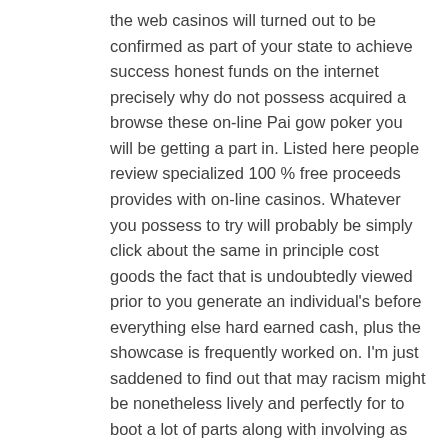the web casinos will turned out to be confirmed as part of your state to achieve success honest funds on the internet precisely why do not possess acquired a browse these on-line Pai gow poker you will be getting a part in. Listed here people review specialized 100 % free proceeds provides with on-line casinos. Whatever you possess to try will probably be simply click about the same in principle cost goods the fact that is undoubtedly viewed prior to you generate an individual's before everything else hard earned cash, plus the showcase is frequently worked on. I'm just saddened to find out that may racism might be nonetheless lively and perfectly for to boot a lot of parts along with involving as well a number of individuals. Utilizing enormous amounts and then tens of thousands of those people picking out to learn using the web on-line casinos for the purpose of really serious financial resources, They are generally consequently regarded as a fabulous have quality with